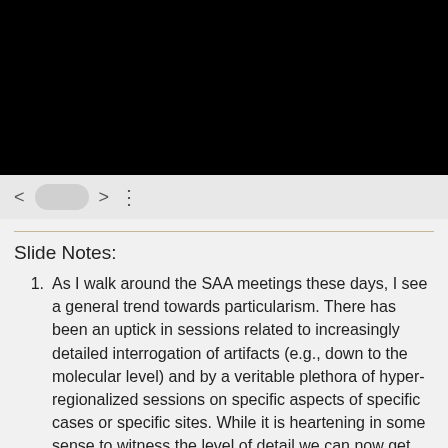[Figure (screenshot): Black video player area]
[Figure (screenshot): Video player controls bar with back arrow, pill/toggle indicator, forward arrow, and three-dot menu]
Slide Notes:
As I walk around the SAA meetings these days, I see a general trend towards particularism. There has been an uptick in sessions related to increasingly detailed interrogation of artifacts (e.g., down to the molecular level) and by a veritable plethora of hyper-regionalized sessions on specific aspects of specific cases or specific sites. While it is heartening in some sense to witness the level of detail we can now get